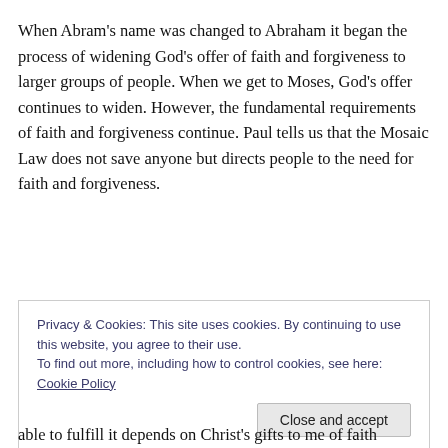When Abram's name was changed to Abraham it began the process of widening God's offer of faith and forgiveness to larger groups of people. When we get to Moses, God's offer continues to widen. However, the fundamental requirements of faith and forgiveness continue. Paul tells us that the Mosaic Law does not save anyone but directs people to the need for faith and forgiveness.
Privacy & Cookies: This site uses cookies. By continuing to use this website, you agree to their use. To find out more, including how to control cookies, see here: Cookie Policy
able to fulfill it depends on Christ's gifts to me of faith